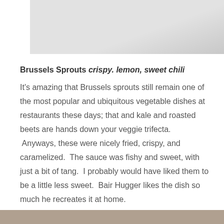[Figure (photo): Partial photograph, light gray/white background visible at top of page, cropped]
Brussels Sprouts crispy. lemon, sweet chili
It’s amazing that Brussels sprouts still remain one of the most popular and ubiquitous vegetable dishes at restaurants these days; that and kale and roasted beets are hands down your veggie trifecta.  Anyways, these were nicely fried, crispy, and caramelized.  The sauce was fishy and sweet, with just a bit of tang.  I probably would have liked them to be a little less sweet.  Bair Hugger likes the dish so much he recreates it at home.
[Figure (photo): Partial photograph visible at bottom of page, cropped]